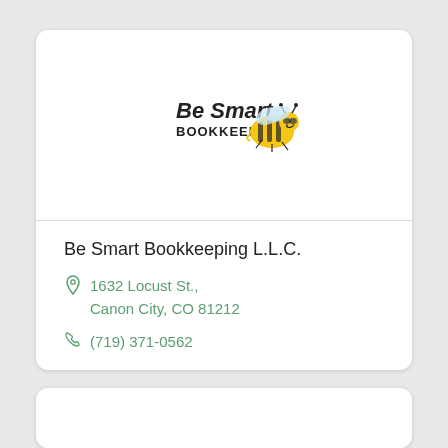[Figure (logo): Be Smart Bookkeeping logo with a cartoon bee wearing glasses and the text 'Be Smart BOOKKEEPING']
Be Smart Bookkeeping L.L.C.
1632 Locust St., Canon City, CO 81212
(719) 371-0562